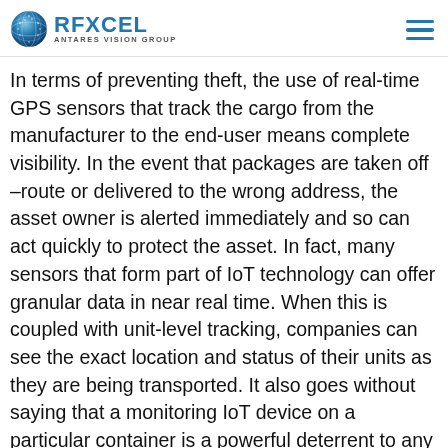RFXCEL ANTARES VISION GROUP
In terms of preventing theft, the use of real-time GPS sensors that track the cargo from the manufacturer to the end-user means complete visibility. In the event that packages are taken off –route or delivered to the wrong address, the asset owner is alerted immediately and so can act quickly to protect the asset. In fact, many sensors that form part of IoT technology can offer granular data in near real time. When this is coupled with unit-level tracking, companies can see the exact location and status of their units as they are being transported. It also goes without saying that a monitoring IoT device on a particular container is a powerful deterrent to any